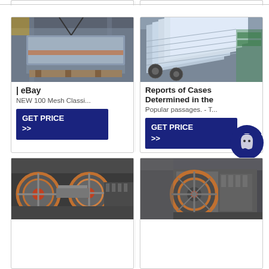[Figure (photo): Industrial metal screen/classifier machine being lifted by crane in a factory]
| eBay
NEW 100 Mesh Classi...
GET PRICE >>
[Figure (photo): Stacked gray metal panels/plates on floor in industrial warehouse]
Reports of Cases Determined in the
Popular passages. - T...
GET PRICE >>
[Figure (photo): Industrial jaw crusher machine with red and orange flywheels in factory setting]
[Figure (photo): Industrial jaw crusher machine with large flywheel in factory setting]